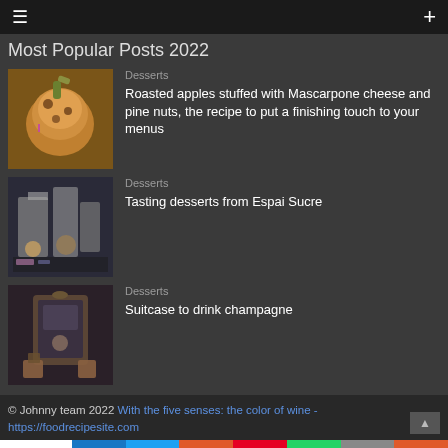≡  +
Most Popular Posts 2022
Desserts | Roasted apples stuffed with Mascarpone cheese and pine nuts, the recipe to put a finishing touch to your menus
Desserts | Tasting desserts from Espai Sucre
Desserts | Suitcase to drink champagne
© Johnny team 2022 With the five senses: the color of wine - https://foodrecipesite.com
0 SHARES